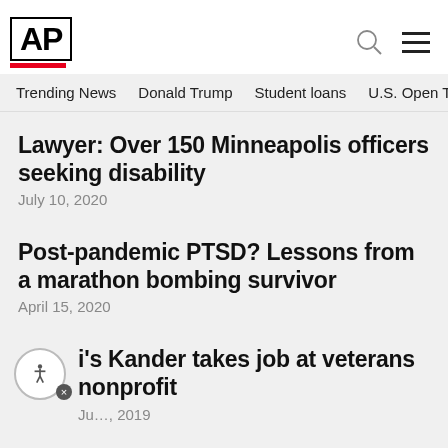AP
Trending News   Donald Trump   Student loans   U.S. Open Tenn
Lawyer: Over 150 Minneapolis officers seeking disability
July 10, 2020
Post-pandemic PTSD? Lessons from a marathon bombing survivor
April 15, 2020
Mo…i's Kander takes job at veterans nonprofit
July…, 2019